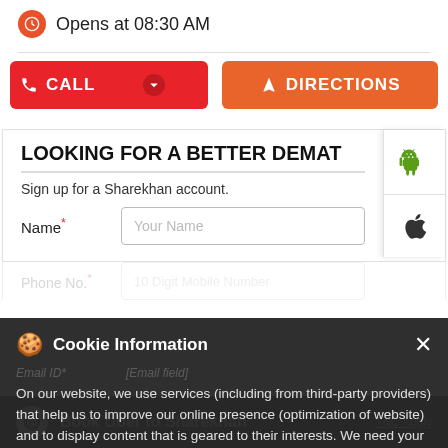[Figure (screenshot): Mobile app screenshot showing Sharekhan business listing with 'Opens at 08:30 AM' info, CALL and DIRECTIONS buttons, a 'Looking for a Better Demat' sign-up form with Name/Phone/Email/Product fields, Android and iOS app buttons on the right, a Cookie Information overlay, and an Uber bar at the bottom.]
Opens at 08:30 AM
CALL
DIRECTIONS
LOOKING FOR A BETTER DEMAT
Sign up for a Sharekhan account.
Name* Your Name
Phone No.* 10 Digit Mobile Number
Email ID*
Product* Select
Cookie Information
On our website, we use services (including from third-party providers) that help us to improve our online presence (optimization of website) and to display content that is geared to their interests. We need your consent before being able to use these services.
Book Uber to Sharekhan
T&C Apply